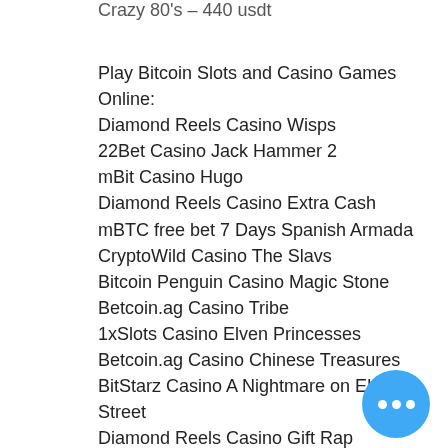Crazy 80's – 440 usdt
Play Bitcoin Slots and Casino Games Online:
Diamond Reels Casino Wisps
22Bet Casino Jack Hammer 2
mBit Casino Hugo
Diamond Reels Casino Extra Cash
mBTC free bet 7 Days Spanish Armada
CryptoWild Casino The Slavs
Bitcoin Penguin Casino Magic Stone
Betcoin.ag Casino Tribe
1xSlots Casino Elven Princesses
Betcoin.ag Casino Chinese Treasures
BitStarz Casino A Nightmare on Elm Street
Diamond Reels Casino Gift Rap
1xBit Casino Phantoms Mirror
BitcoinCasino.us Halloweenies
FortuneJack Casino Sea Underwater Club